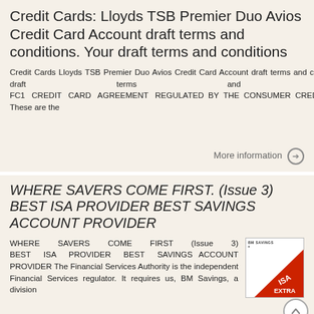Credit Cards: Lloyds TSB Premier Duo Avios Credit Card Account draft terms and conditions. Your draft terms and conditions
Credit Cards Lloyds TSB Premier Duo Avios Credit Card Account draft terms and conditions. Your draft terms and conditions FC1 CREDIT CARD AGREEMENT REGULATED BY THE CONSUMER CREDIT ACT 1974 These are the
[Figure (illustration): Thumbnail of a document: Lloyds TSB Premier Duo Avios Credit Card Account draft terms and conditions]
More information →
WHERE SAVERS COME FIRST. (Issue 3) BEST ISA PROVIDER BEST SAVINGS ACCOUNT PROVIDER
WHERE SAVERS COME FIRST (Issue 3) BEST ISA PROVIDER BEST SAVINGS ACCOUNT PROVIDER The Financial Services Authority is the independent Financial Services regulator. It requires us, BM Savings, a division
[Figure (logo): ISA EXTRA logo with red diagonal shape, BM Savings branding, and a back-to-top circle button]